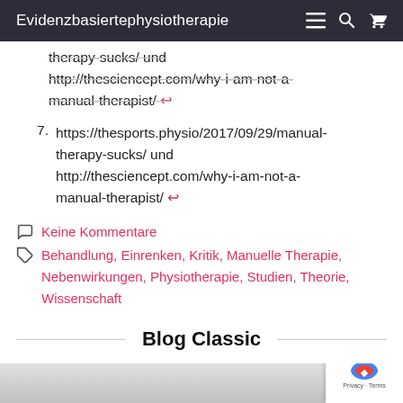Evidenzbasiertephysiotherapie
therapy-sucks/ und http://thesciencept.com/why-i-am-not-a-manual-therapist/ ↩
7. https://thesports.physio/2017/09/29/manual-therapy-sucks/ und http://thesciencept.com/why-i-am-not-a-manual-therapist/ ↩
Keine Kommentare
Behandlung, Einrenken, Kritik, Manuelle Therapie, Nebenwirkungen, Physiotherapie, Studien, Theorie, Wissenschaft
Blog Classic